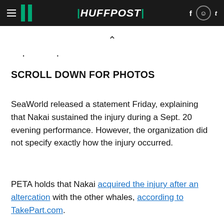HuffPost
[Figure (other): Chevron/caret up arrow navigation icon]
[Figure (other): Two small dot/bullet navigation indicators]
SCROLL DOWN FOR PHOTOS
SeaWorld released a statement Friday, explaining that Nakai sustained the injury during a Sept. 20 evening performance. However, the organization did not specify exactly how the injury occurred.
PETA holds that Nakai acquired the injury after an altercation with the other whales, according to TakePart.com.